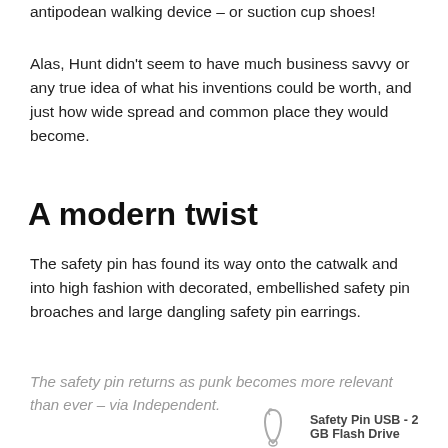antipodean walking device – or suction cup shoes!
Alas, Hunt didn't seem to have much business savvy or any true idea of what his inventions could be worth, and just how wide spread and common place they would become.
A modern twist
The safety pin has found its way onto the catwalk and into high fashion with decorated, embellished safety pin broaches and large dangling safety pin earrings.
The safety pin returns as punk becomes more relevant than ever – via Independent.
[Figure (illustration): Illustration of a safety pin USB flash drive]
Safety Pin USB - 2 GB Flash Drive